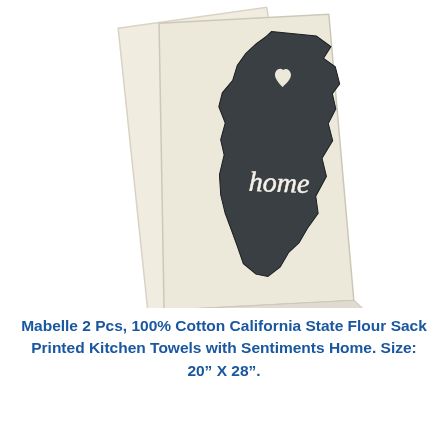[Figure (photo): Two cream/natural colored flour sack kitchen towels folded and fanned out, each printed with a dark charcoal silhouette of the state of California. A heart cutout is near the top of the state and the word 'home' is written in cursive script across the middle of the California shape.]
Mabelle 2 Pcs, 100% Cotton California State Flour Sack Printed Kitchen Towels with Sentiments Home. Size: 20" X 28".